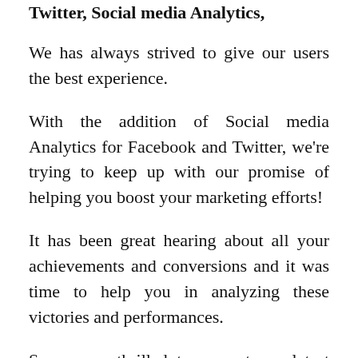Twitter, Social media Analytics,
We has always strived to give our users the best experience.
With the addition of Social media Analytics for Facebook and Twitter, we're trying to keep up with our promise of helping you boost your marketing efforts!
It has been great hearing about all your achievements and conversions and it was time to help you in analyzing these victories and performances.
So we are thrilled to present our latest feature, the social media analytics, hav...